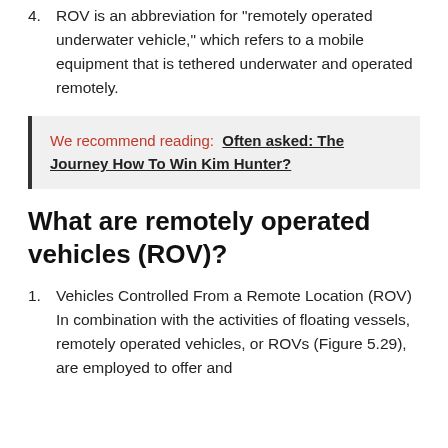4. ROV is an abbreviation for "remotely operated underwater vehicle," which refers to a mobile equipment that is tethered underwater and operated remotely.
We recommend reading:  Often asked: The Journey How To Win Kim Hunter?
What are remotely operated vehicles (ROV)?
1. Vehicles Controlled From a Remote Location (ROV) In combination with the activities of floating vessels, remotely operated vehicles, or ROVs (Figure 5.29), are employed to offer and